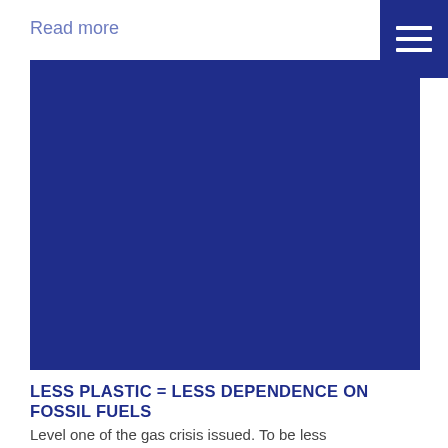Read more
[Figure (other): Large dark navy blue rectangular image placeholder]
LESS PLASTIC = LESS DEPENDENCE ON FOSSIL FUELS
Level one of the gas crisis issued. To be less